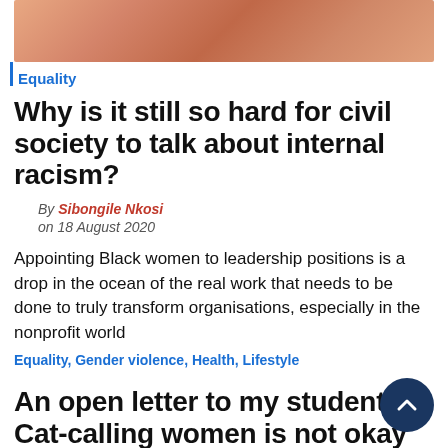[Figure (photo): Cropped photograph showing skin tones, appearing to be hands or faces in warm orange/brown tones]
Equality
Why is it still so hard for civil society to talk about internal racism?
By Sibongile Nkosi
on 18 August 2020
Appointing Black women to leadership positions is a drop in the ocean of the real work that needs to be done to truly transform organisations, especially in the nonprofit world
Equality, Gender violence, Health, Lifestyle
An open letter to my students: Cat-calling women is not okay